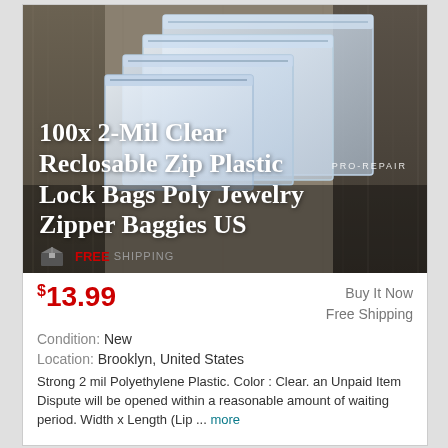[Figure (photo): Photo of clear reclosable zip plastic bags stacked on a wooden surface, with white text overlay showing product title and PRO-REPAIR watermark, plus FREE SHIPPING badge at bottom]
$13.99
Buy It Now
Free Shipping
Condition: New
Location: Brooklyn, United States
Strong 2 mil Polyethylene Plastic. Color : Clear. an Unpaid Item Dispute will be opened within a reasonable amount of waiting period. Width x Length (Lip ... more